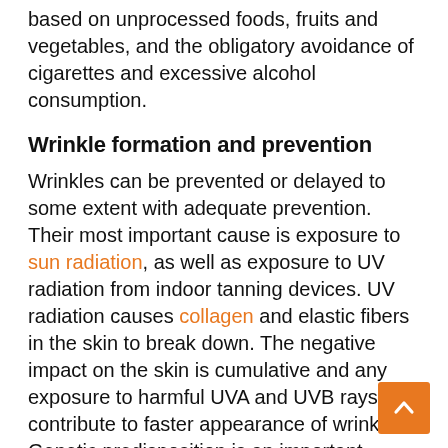based on unprocessed foods, fruits and vegetables, and the obligatory avoidance of cigarettes and excessive alcohol consumption.
Wrinkle formation and prevention
Wrinkles can be prevented or delayed to some extent with adequate prevention. Their most important cause is exposure to sun radiation, as well as exposure to UV radiation from indoor tanning devices. UV radiation causes collagen and elastic fibers in the skin to break down. The negative impact on the skin is cumulative and any exposure to harmful UVA and UVB rays will contribute to faster appearance of wrinkles. Genetic predisposition is an important factor, as is the skin phototype. People with lighter skin and light-coloured eyes are more prone to wrinkles. An unhealthy diet with a lot of sugar, fast and fried foods can contribute to wrinkles, just as smoking or